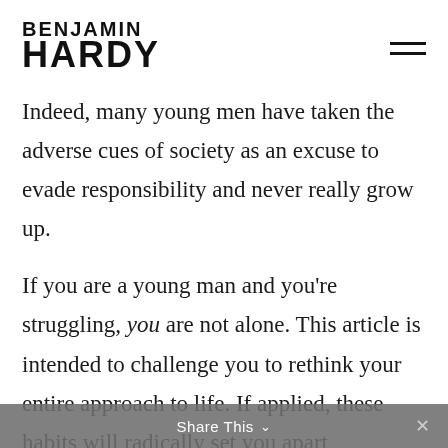BENJAMIN HARDY
Indeed, many young men have taken the adverse cues of society as an excuse to evade responsibility and never really grow up.
If you are a young man and you're struggling, you are not alone. This article is intended to challenge you to rethink your entire approach to life. If applied, these habits will radically set you apart
Share This ×